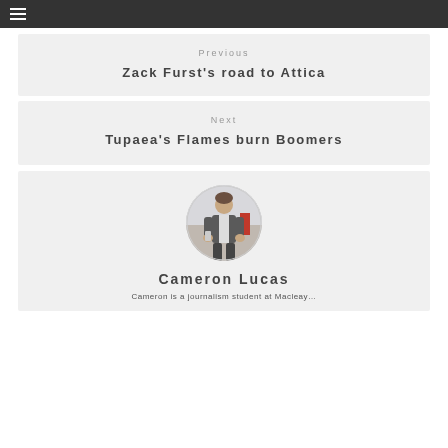☰
Previous
Zack Furst's road to Attica
Next
Tupaea's Flames burn Boomers
[Figure (photo): Circular portrait photo of Cameron Lucas, a man in a vest/waistcoat standing in what appears to be an indoor venue.]
Cameron Lucas
Cameron is a journalism student at Macleay…